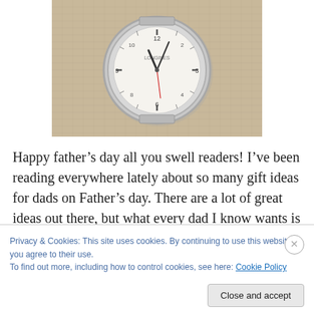[Figure (photo): A silver analog wristwatch with white dial and metal bracelet, placed on a textured fabric background]
Happy father’s day all you swell readers! I’ve been reading everywhere lately about so many gift ideas for dads on Father’s day. There are a lot of great ideas out there, but what every dad I know wants is time, time with his loved ones. A special moment that can be captured in a memory, a photo, or a memento. We dads really want more than
Privacy & Cookies: This site uses cookies. By continuing to use this website, you agree to their use.
To find out more, including how to control cookies, see here: Cookie Policy